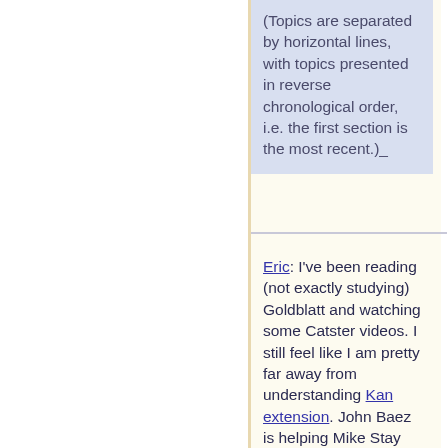(Topics are separated by horizontal lines, with topics presented in reverse chronological order, i.e. the first section is the most recent.)_
Eric: I've been reading (not exactly studying) Goldblatt and watching some Catster videos. I still feel like I am pretty far away from understanding Kan extension. John Baez is helping Mike Stay understand them on free cocompletion, which might be helpful to